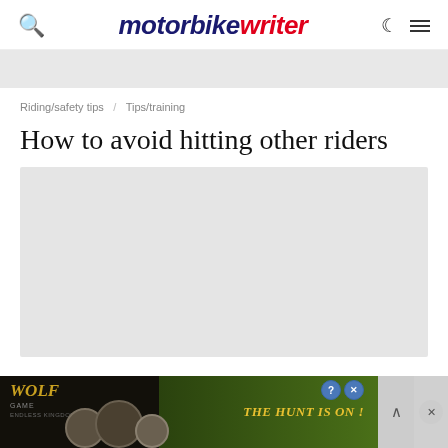motorbike writer
[Figure (other): Gray placeholder banner/advertisement area]
Riding/safety tips / Tips/training
How to avoid hitting other riders
[Figure (photo): Large gray placeholder image for article]
[Figure (other): Bottom advertisement banner: Wolf Game - The Hunt Is On!]